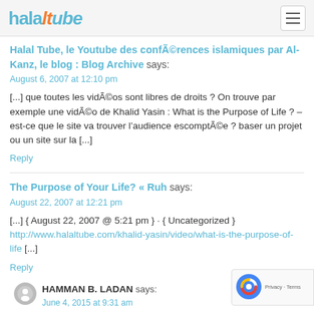halaltube [navigation menu button]
Halal Tube, le Youtube des conférences islamiques par Al-Kanz, le blog : Blog Archive says:
August 6, 2007 at 12:10 pm
[...] que toutes les vidéos sont libres de droits ? On trouve par exemple une vidéo de Khalid Yasin : What is the Purpose of Life ? – est-ce que le site va trouver l'audience escomptée ? baser un projet ou un site sur la [...]
Reply
The Purpose of Your Life? « Ruh says:
August 22, 2007 at 12:21 pm
[...] { August 22, 2007 @ 5:21 pm } · { Uncategorized } http://www.halaltube.com/khalid-yasin/video/what-is-the-purpose-of-life [...]
Reply
HAMMAN B. LADAN says:
June 4, 2015 at 9:31 am